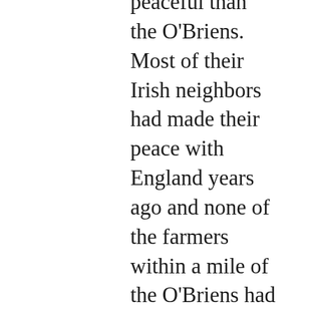peaceful than the O'Briens. Most of their Irish neighbors had made their peace with England years ago and none of the farmers within a mile of the O'Briens had ever seen a bullet in their entire lifetime, yet